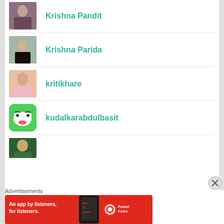[Figure (photo): Profile photo of Krishna Pandit - person in jacket]
Krishna Pandit
[Figure (photo): Profile photo of Krishna Parida - person outdoors]
Krishna Parida
[Figure (photo): Profile photo of kritikhare - young woman in pink]
kritikhare
[Figure (illustration): Avatar/icon for kudalkarabdulbasit - cartoon face on green background]
kudalkarabdulbasit
[Figure (photo): Partial profile photo at bottom]
Advertisements
[Figure (screenshot): Pocket Casts advertisement banner - An app by listeners, for listeners.]